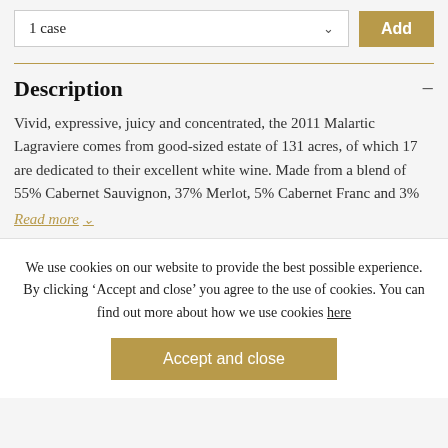1 case
Description
Vivid, expressive, juicy and concentrated, the 2011 Malartic Lagraviere comes from good-sized estate of 131 acres, of which 17 are dedicated to their excellent white wine. Made from a blend of 55% Cabernet Sauvignon, 37% Merlot, 5% Cabernet Franc and 3%
Read more
We use cookies on our website to provide the best possible experience. By clicking ‘Accept and close’ you agree to the use of cookies. You can find out more about how we use cookies here
Accept and close